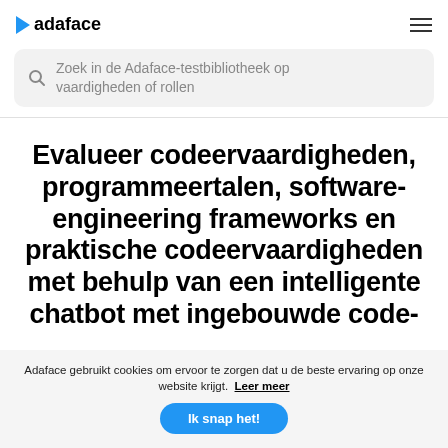adaface
Zoek in de Adaface-testbibliotheek op vaardigheden of rollen
Evalueer codeervaardigheden, programmeertalen, software-engineering frameworks en praktische codeervaardigheden met behulp van een intelligente chatbot met ingebouwde code-
Adaface gebruikt cookies om ervoor te zorgen dat u de beste ervaring op onze website krijgt. Leer meer
Ik snap het!